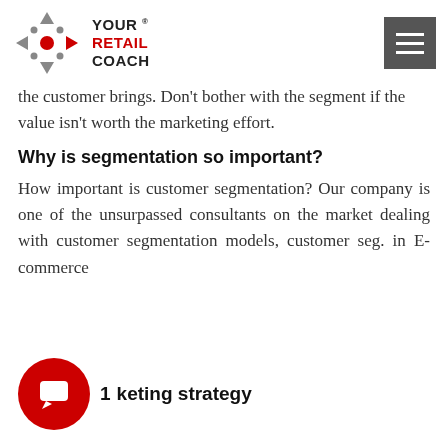YOUR RETAIL COACH
the customer brings. Don't bother with the segment if the value isn't worth the marketing effort.
Why is segmentation so important?
How important is customer segmentation? Our company is one of the unsurpassed consultants on the market dealing with customer segmentation models, customer seg. in E-commerce
1. keting strategy